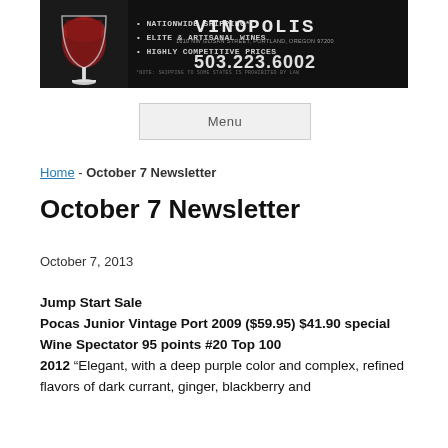[Figure (logo): Vinopolis wine store banner with wine glass graphic, bullet points listing nationwide shipping, elite & artisanal wines, highly competitive prices, and the store name VINOPOLIS, address 1610 NW Glisan Street Portland Oregon 97200, phone 503.223.6002]
Menu
Home - October 7 Newsletter
October 7 Newsletter
October 7, 2013
Jump Start Sale
Pocas Junior Vintage Port 2009 ($59.95) $41.90 special
Wine Spectator 95 points #20 Top 100
2012 “Elegant, with a deep purple color and complex, refined flavors of dark currant, ginger, blackberry and